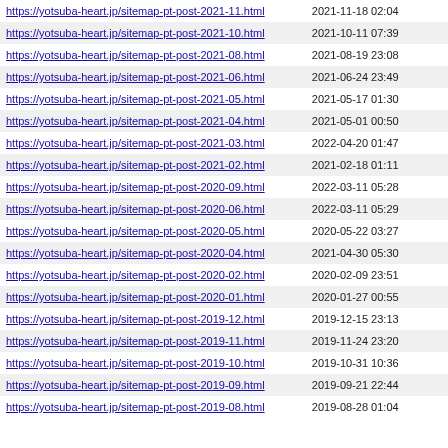| https://yotsuba-heart.jp/sitemap-pt-post-2021-11.html | 2021-11-18 02:04 |
| https://yotsuba-heart.jp/sitemap-pt-post-2021-10.html | 2021-10-11 07:39 |
| https://yotsuba-heart.jp/sitemap-pt-post-2021-08.html | 2021-08-19 23:08 |
| https://yotsuba-heart.jp/sitemap-pt-post-2021-06.html | 2021-06-24 23:49 |
| https://yotsuba-heart.jp/sitemap-pt-post-2021-05.html | 2021-05-17 01:30 |
| https://yotsuba-heart.jp/sitemap-pt-post-2021-04.html | 2021-05-01 00:50 |
| https://yotsuba-heart.jp/sitemap-pt-post-2021-03.html | 2022-04-20 01:47 |
| https://yotsuba-heart.jp/sitemap-pt-post-2021-02.html | 2021-02-18 01:11 |
| https://yotsuba-heart.jp/sitemap-pt-post-2020-09.html | 2022-03-11 05:28 |
| https://yotsuba-heart.jp/sitemap-pt-post-2020-06.html | 2022-03-11 05:29 |
| https://yotsuba-heart.jp/sitemap-pt-post-2020-05.html | 2020-05-22 03:27 |
| https://yotsuba-heart.jp/sitemap-pt-post-2020-04.html | 2021-04-30 05:30 |
| https://yotsuba-heart.jp/sitemap-pt-post-2020-02.html | 2020-02-09 23:51 |
| https://yotsuba-heart.jp/sitemap-pt-post-2020-01.html | 2020-01-27 00:55 |
| https://yotsuba-heart.jp/sitemap-pt-post-2019-12.html | 2019-12-15 23:13 |
| https://yotsuba-heart.jp/sitemap-pt-post-2019-11.html | 2019-11-24 23:20 |
| https://yotsuba-heart.jp/sitemap-pt-post-2019-10.html | 2019-10-31 10:36 |
| https://yotsuba-heart.jp/sitemap-pt-post-2019-09.html | 2019-09-21 22:44 |
| https://yotsuba-heart.jp/sitemap-pt-post-2019-08.html | 2019-08-28 01:04 |